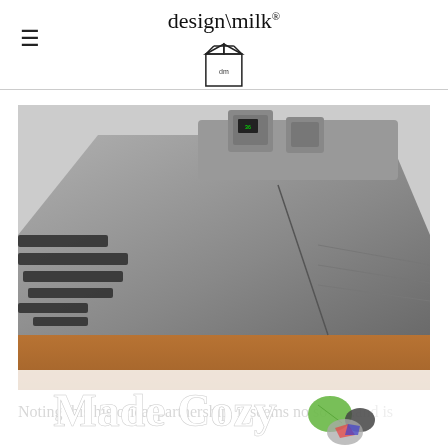design\milk (logo with milk carton icon)
[Figure (photo): Close-up photo of a modern electronic keyboard or synthesizer device with dark grey metallic keys and wooden surface base, shot from an angle showing USB ports and controls on top.]
Noting this historical partnership, it seems no so... ...and is
[Figure (infographic): Advertisement overlay banner reading 'Made Cozy' with decorative pillow illustrations on the right side.]